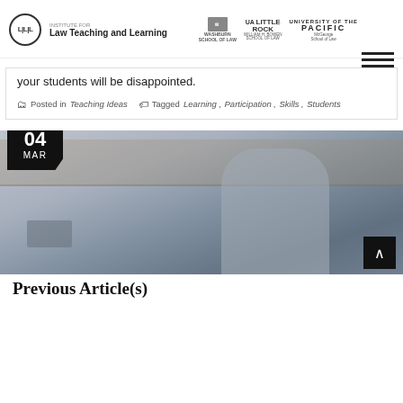Institute for Law Teaching and Learning | Washburn School of Law | UA Little Rock William H. Bowen School of Law | University of the Pacific McGeorge School of Law
your students will be disappointed.
Posted in Teaching Ideas   Tagged Learning, Participation, Skills, Students
[Figure (photo): A law professor gesturing with hands while speaking in a classroom with students and laptops visible in the background. Date badge shows 04 MAR.]
Previous Article(s)